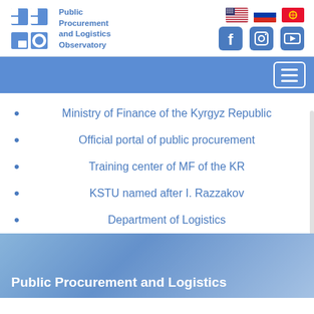[Figure (logo): PPLO logo with blue block letters PP over LO in a square grid design]
Public Procurement and Logistics Observatory
[Figure (infographic): Flag icons: USA, Russia, Kyrgyzstan; Social media icons: Facebook, Instagram, YouTube]
[Figure (infographic): Blue navigation bar with hamburger menu button]
Ministry of Finance of the Kyrgyz Republic
Official portal of public procurement
Training center of MF of the KR
KSTU named after I. Razzakov
Department of Logistics
Public Procurement and Logistics